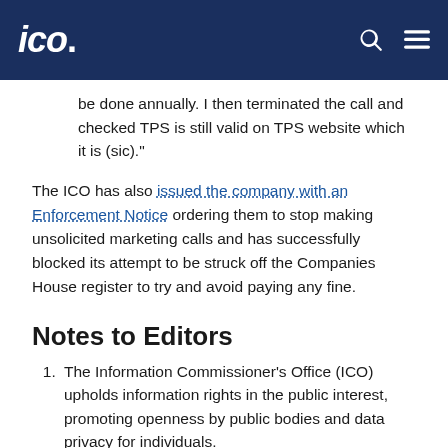ico.
be done annually. I then terminated the call and checked TPS is still valid on TPS website which it is (sic)."
The ICO has also issued the company with an Enforcement Notice ordering them to stop making unsolicited marketing calls and has successfully blocked its attempt to be struck off the Companies House register to try and avoid paying any fine.
Notes to Editors
The Information Commissioner's Office (ICO) upholds information rights in the public interest, promoting openness by public bodies and data privacy for individuals.
The ICO has specific responsibilities set out in the Data Protection Act 2018, the UK General Data Protection Regulation (GDPR), the Freedom of Information Act 2000